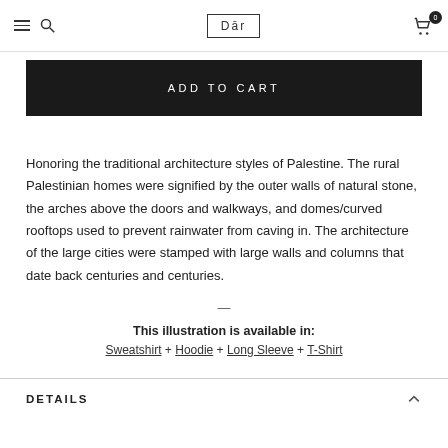Dār — navigation header with menu, search, logo, and cart (0 items)
ADD TO CART
Honoring the traditional architecture styles of Palestine. The rural Palestinian homes were signified by the outer walls of natural stone, the arches above the doors and walkways, and domes/curved rooftops used to prevent rainwater from caving in. The architecture of the large cities were stamped with large walls and columns that date back centuries and centuries.
This illustration is available in:
Sweatshirt + Hoodie + Long Sleeve + T-Shirt
DETAILS